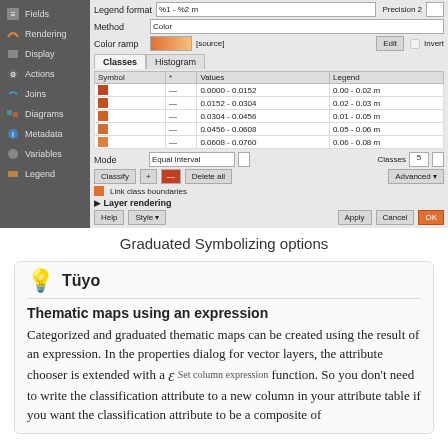[Figure (screenshot): QGIS Layer Properties dialog showing Graduated Symbolizing options with sidebar, color ramp, classes table with 5 graduated symbol rows showing value ranges and legend labels, mode selector, and action buttons.]
Graduated Symbolizing options
Thematic maps using an expression
Categorized and graduated thematic maps can be created using the result of an expression. In the properties dialog for vector layers, the attribute chooser is extended with a ε Set column expression function. So you don't need to write the classification attribute to a new column in your attribute table if you want the classification attribute to be a composite of